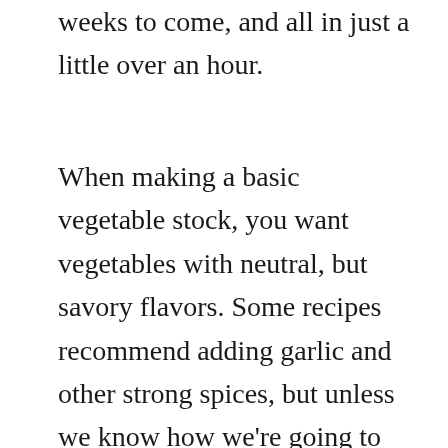weeks to come, and all in just a little over an hour.
When making a basic vegetable stock, you want vegetables with neutral, but savory flavors. Some recipes recommend adding garlic and other strong spices, but unless we know how we're going to be using the broth, we prefer to add those kinds of seasonings when we're actually making a dish. We also don't add salt to the stock for the same reason. Onions, carrots, celery and mushrooms are the ideal starter vegetables for